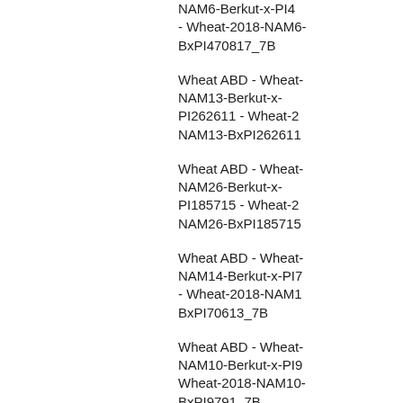NAM6-Berkut-x-PI4 - Wheat-2018-NAM6-BxPI470817_7B
Wheat ABD - Wheat-NAM13-Berkut-x-PI262611 - Wheat-2018-NAM13-BxPI262611
Wheat ABD - Wheat-NAM26-Berkut-x-PI185715 - Wheat-2018-NAM26-BxPI185715
Wheat ABD - Wheat-NAM14-Berkut-x-PI7 - Wheat-2018-NAM14-BxPI70613_7B
Wheat ABD - Wheat-NAM10-Berkut-x-PI9 - Wheat-2018-NAM10-BxPI9791_7B
Wheat ABD - Wheat-NAM16-Berkut-x-PI8 - Wheat-2018-NAM16-BxPI8813_7B
Wheat ABD - Wheat-NAM17-Berkut-x-PI8 - Wheat-2018-NAM17-